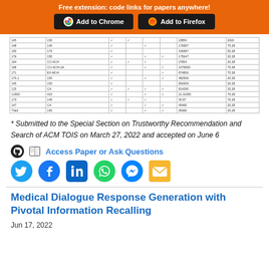Free extension: code links for papers anywhere! Add to Chrome | Add to Firefox
| 145 | 150 | ✓ | ✓ |  |  | 23854 | 2022 |
| 148 | 145 | ✓ |  | ✓ |  | 176587 | 70,28 |
| 155 | 175 | ✓ |  |  |  | 156587 | 50,28 |
| 176 | 150 | ✓ |  | ✓ | ✓ | 175647 | 20,28 |
| 164 | CO-ACH | ✓ | ✓ | ✓ |  | 27804 | 20,28 |
| 168 | CO-ACH-UA | ✓ |  | ✓ | ✓ | 1076965 | 70,48 |
| 171 | EX-MOA | ✓ |  |  | ✓ | 874806 | 70,28 |
| 170,1 | 150 | ✓ |  | ✓ | ✓ | 482506 | 20,28 |
| 145 | 150 | ✓ |  |  |  | 800209 | 20,28 |
| 115 | CA | ✓ | ✓ | ✓ | ✓ | 814290 | 20,28 |
| 11593 | 415 | ✓ |  | ✓ | ✓ | 21.31055 | 70,28 |
| 173 | 145 | ✓ | ✓ | ✓ |  | 45.87 | 70,28 |
| 147 | CA | ✓ |  | ✓ | ✓ | 45465 | 20,28 |
| T3a3 | 150 | ✓ |  | ✓ | ✓ | 45365 | 20,28 |
* Submitted to the Special Section on Trustworthy Recommendation and Search of ACM TOIS on March 27, 2022 and accepted on June 6
Access Paper or Ask Questions
[Figure (infographic): Social sharing icons: Twitter, Facebook, LinkedIn, WhatsApp, Messenger, Email]
Medical Dialogue Response Generation with Pivotal Information Recalling
Jun 17, 2022